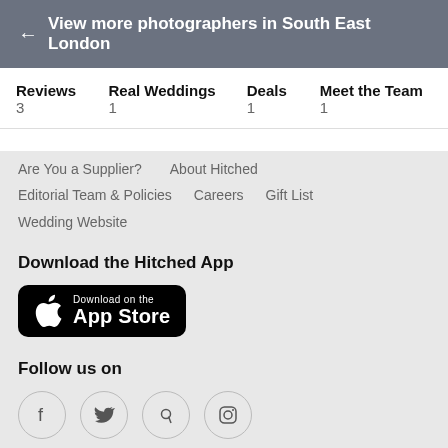← View more photographers in South East London
Reviews 3   Real Weddings 1   Deals 1   Meet the Team 1
Are You a Supplier?   About Hitched
Editorial Team & Policies   Careers   Gift List
Wedding Website
Download the Hitched App
[Figure (logo): Download on the App Store button — black rounded rectangle with Apple logo and text 'Download on the App Store']
Follow us on
[Figure (infographic): Social media icons in circles: Facebook, Twitter, Pinterest, Instagram]
Choose a Country